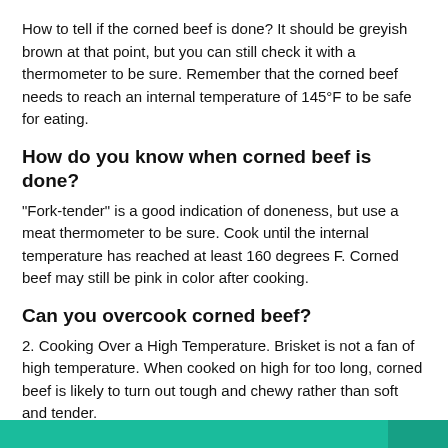How to tell if the corned beef is done? It should be greyish brown at that point, but you can still check it with a thermometer to be sure. Remember that the corned beef needs to reach an internal temperature of 145°F to be safe for eating.
How do you know when corned beef is done?
“Fork-tender” is a good indication of doneness, but use a meat thermometer to be sure. Cook until the internal temperature has reached at least 160 degrees F. Corned beef may still be pink in color after cooking.
Can you overcook corned beef?
2. Cooking Over a High Temperature. Brisket is not a fan of high temperature. When cooked on high for too long, corned beef is likely to turn out tough and chewy rather than soft and tender.